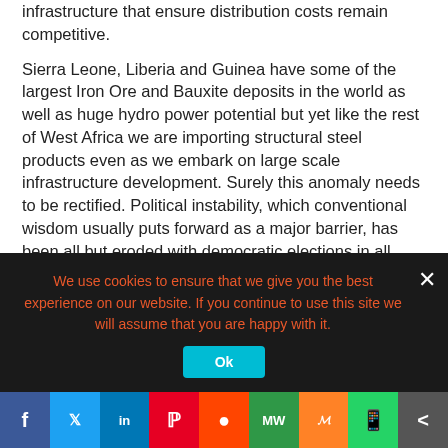infrastructure that ensure distribution costs remain competitive.
Sierra Leone, Liberia and Guinea have some of the largest Iron Ore and Bauxite deposits in the world as well as huge hydro power potential but yet like the rest of West Africa we are importing structural steel products even as we embark on large scale infrastructure development. Surely this anomaly needs to be rectified. Political instability, which conventional wisdom usually puts forward as a major barrier, has been all but eroded with democratic elections in all three countries. The energy problem must now be addressed. Logistics and infrastructure challenges can be resolved through off take contracts with African and Global markets.
So the challenge to UNIDO is how do you work with us to enhance the creation of regionally integrated steel
We use cookies to ensure that we give you the best experience on our website. If you continue to use this site we will assume that you are happy with it.